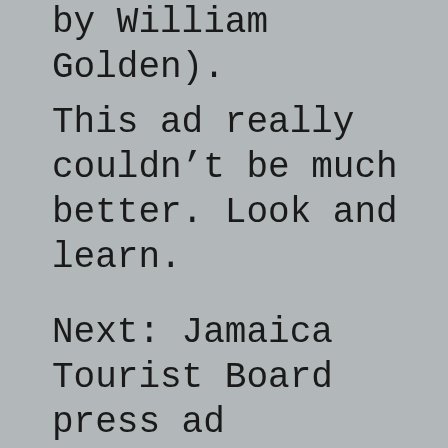by William Golden).
This ad really couldn't be much better. Look and learn.
Next: Jamaica Tourist Board press ad